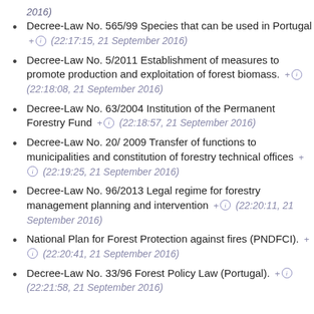2016)
Decree-Law No. 565/99 Species that can be used in Portugal + ⓘ (22:17:15, 21 September 2016)
Decree-Law No. 5/2011 Establishment of measures to promote production and exploitation of forest biomass. + ⓘ (22:18:08, 21 September 2016)
Decree-Law No. 63/2004 Institution of the Permanent Forestry Fund + ⓘ (22:18:57, 21 September 2016)
Decree-Law No. 20/ 2009 Transfer of functions to municipalities and constitution of forestry technical offices + ⓘ (22:19:25, 21 September 2016)
Decree-Law No. 96/2013 Legal regime for forestry management planning and intervention + ⓘ (22:20:11, 21 September 2016)
National Plan for Forest Protection against fires (PNDFCI). + ⓘ (22:20:41, 21 September 2016)
Decree-Law No. 33/96 Forest Policy Law (Portugal). + ⓘ (22:21:58, 21 September 2016)